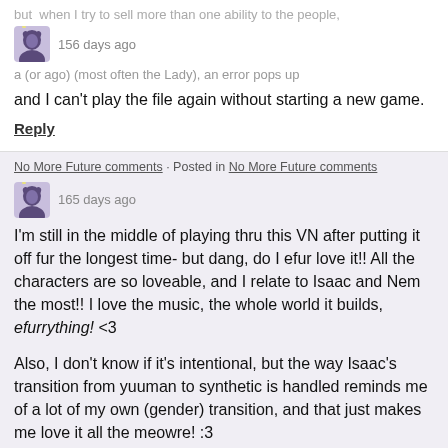but when I try to sell more than one ability to the people, an error pops up
156 days ago
and I can't play the file again without starting a new game.
Reply
No More Future comments · Posted in No More Future comments
165 days ago
I'm still in the middle of playing thru this VN after putting it off fur the longest time- but dang, do I efur love it!! All the characters are so loveable, and I relate to Isaac and Nem the most!! I love the music, the whole world it builds, efurrything! <3
Also, I don't know if it's intentional, but the way Isaac's transition from yuuman to synthetic is handled reminds me of a lot of my own (gender) transition, and that just makes me love it all the meowre! :3